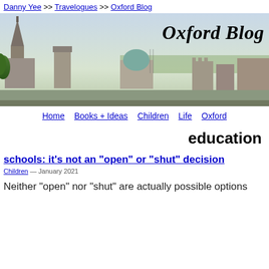Danny Yee >> Travelogues >> Oxford Blog
[Figure (photo): Banner photo of Oxford skyline with church spires and domes, overlaid with italic bold text 'Oxford Blog']
Home | Books + Ideas | Children | Life | Oxford
education
schools: it's not an "open" or "shut" decision
Children — January 2021
Neither "open" nor "shut" are actually possible options